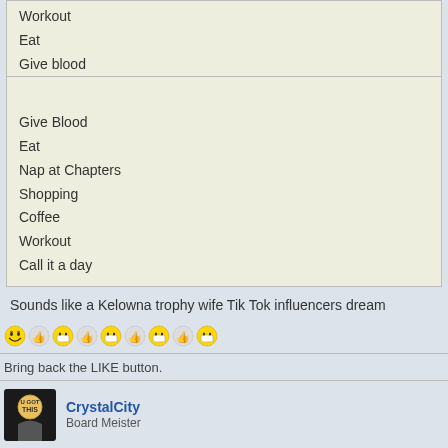Workout
Eat
Give blood
Give Blood
Eat
Nap at Chapters
Shopping
Coffee
Workout
Call it a day
Sounds like a Kelowna trophy wife Tik Tok influencers dream
[Figure (other): Row of emoji reaction icons: laughing, thumbs up pairs, masked face, thumbs up pairs, masked face, thumbs up pairs, masked face, thumbs up pairs, masked face]
Bring back the LIKE button.
[Figure (photo): User avatar for CrystalCity showing 'U GOT THIS' logo]
CrystalCity
Board Meister
Re: Bed Bath & Beyond Store (Kelowna)
May 5th, 2022, 9:34 am